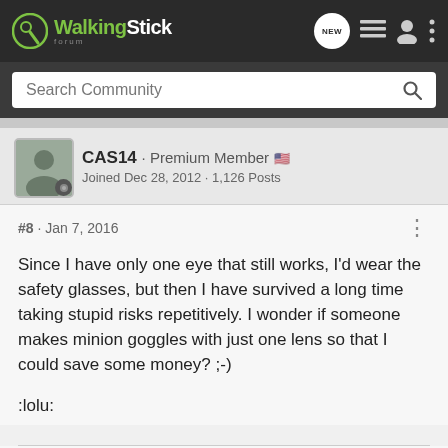WalkingStick Forum
Search Community
CAS14 · Premium Member
Joined Dec 28, 2012 · 1,126 Posts
#8 · Jan 7, 2016
Since I have only one eye that still works, I'd wear the safety glasses, but then I have survived a long time taking stupid risks repetitively. I wonder if someone makes minion goggles with just one lens so that I could save some money? ;-)
:lolu:
Non Multa Sed Multum